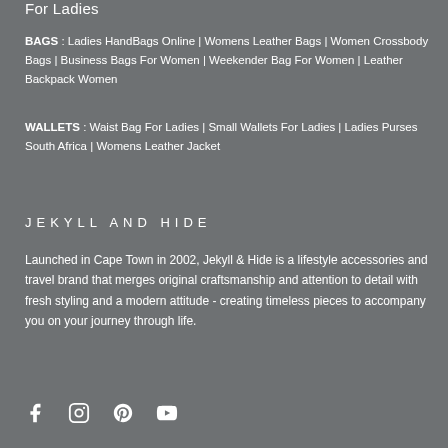For Ladies
BAGS : Ladies HandBags Online | Womens Leather Bags | Women Crossbody Bags | Business Bags For Women | Weekender Bag For Women | Leather Backpack Women
WALLETS : Waist Bag For Ladies | Small Wallets For Ladies | Ladies Purses South Africa | Womens Leather Jacket
JEKYLL AND HIDE
Launched in Cape Town in 2002, Jekyll & Hide is a lifestyle accessories and travel brand that merges original craftsmanship and attention to detail with fresh styling and a modern attitude - creating timeless pieces to accompany you on your journey through life.
[Figure (infographic): Social media icons: Facebook, Instagram, Pinterest, YouTube]